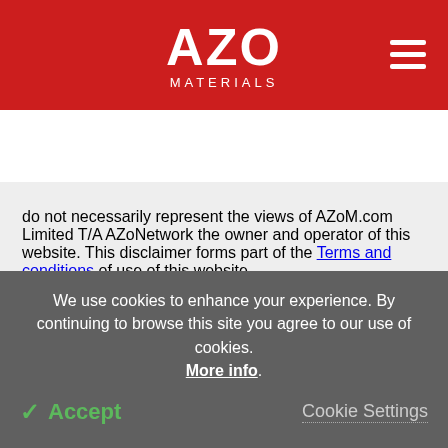AZO MATERIALS
[Figure (infographic): Social media sharing icons: LinkedIn, Facebook, Twitter, Reddit, Email]
do not necessarily represent the views of AZoM.com Limited T/A AZoNetwork the owner and operator of this website. This disclaimer forms part of the Terms and conditions of use of this website.
We use cookies to enhance your experience. By continuing to browse this site you agree to our use of cookies. More info. Accept Cookie Settings